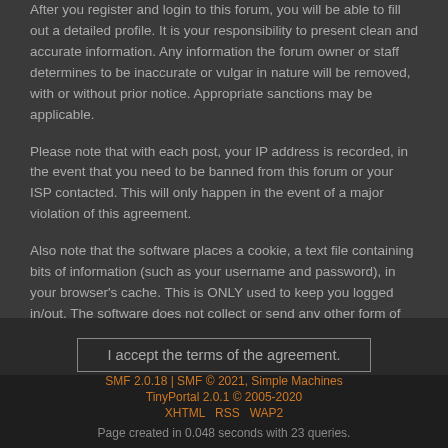After you register and login to this forum, you will be able to fill out a detailed profile. It is your responsibility to present clean and accurate information. Any information the forum owner or staff determines to be inaccurate or vulgar in nature will be removed, with or without prior notice. Appropriate sanctions may be applicable.
Please note that with each post, your IP address is recorded, in the event that you need to be banned from this forum or your ISP contacted. This will only happen in the event of a major violation of this agreement.
Also note that the software places a cookie, a text file containing bits of information (such as your username and password), in your browser's cache. This is ONLY used to keep you logged in/out. The software does not collect or send any other form of information to your computer.
I accept the terms of the agreement.
SMF 2.0.18 | SMF © 2021, Simple Machines
TinyPortal 2.0.1 © 2005-2020
XHTML   RSS   WAP2
Page created in 0.048 seconds with 23 queries.